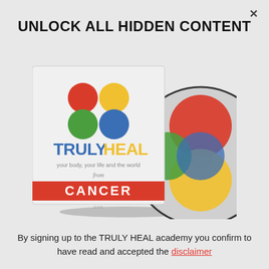×
UNLOCK ALL HIDDEN CONTENT
[Figure (photo): Product image of TRULY HEAL DVD set — a box and a disc. The box has four colored circles (red, yellow, green, blue) arranged in a 2x2 grid, the text 'TRULY HEAL' in blue and yellow bold letters, 'your body, your life and the world' in grey, 'from' in cursive, and a red banner reading 'CANCER' in white letters. A DVD disc is partially visible behind the box.]
By signing up to the TRULY HEAL academy you confirm to have read and accepted the disclaimer